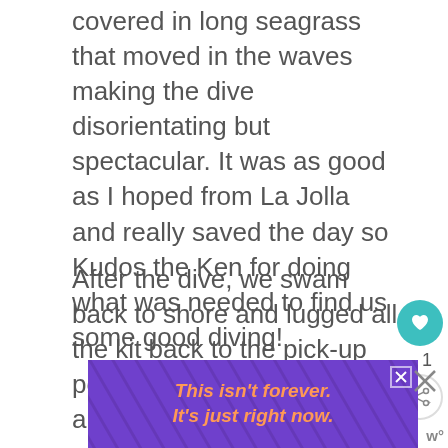covered in long seagrass that moved in the waves making the dive disorientating but spectacular. It was as good as I hoped from La Jolla and really saved the day so Kudos the Ken for doing what was needed to find us some good diving!
After the dive, we swam back to shore and lugged all the kit back to the pick-up point. I said my goodbyes and headed back to Hotel to pick Kate up and head out for a wine tasting!
[Figure (other): Purple advertisement banner with diagonal line decorations. Text reads: This isn't forever. It's just right now. in orange/pink italic font. Has an X close button.]